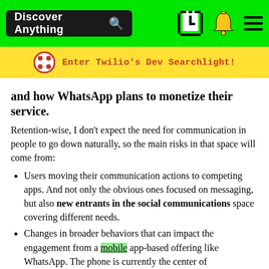Discover Anything [search icon] [clock icon] [bell icon] [menu icon]
Enter Twilio's Dev Searchlight!
and how WhatsApp plans to monetize their service.
Retention-wise, I don't expect the need for communication in people to go down naturally, so the main risks in that space will come from:
Users moving their communication actions to competing apps. And not only the obvious ones focused on messaging, but also new entrants in the social communications space covering different needs.
Changes in broader behaviors that can impact the engagement from a mobile app-based offering like WhatsApp. The phone is currently the center of